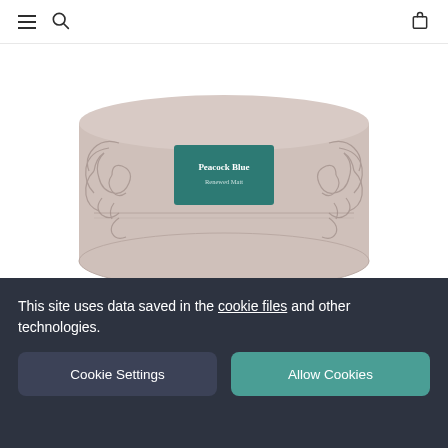[Figure (screenshot): Website navigation bar with hamburger menu, search icon, and shopping bag icon on a white background]
[Figure (photo): Paint tin labeled 'Peacock Blue Renewed Matt' — a round tin in beige/pink with ornate floral embossed decoration and a teal label in the center showing the paint name]
[Figure (other): Carousel slider indicators: three short horizontal lines, the leftmost being dark/active and the other two being light gray/inactive]
This site uses data saved in the cookie files and other technologies.
Cookie Settings
Allow Cookies